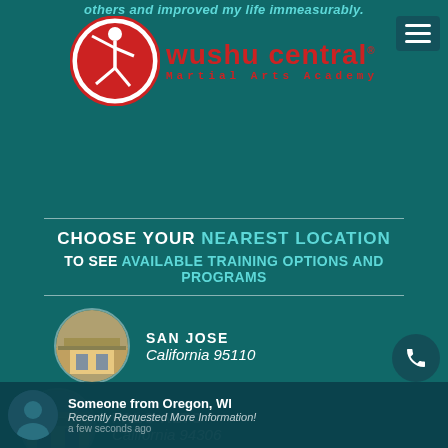others and improved my life immeasurably.
[Figure (logo): Wushu Central Martial Arts Academy logo — red circle with white silhouette martial artist, red text 'wushu central' and 'Martial Arts Academy']
CHOOSE YOUR NEAREST LOCATION TO SEE AVAILABLE TRAINING OPTIONS AND PROGRAMS
[Figure (photo): Circular thumbnail of San Jose location building exterior]
SAN JOSE
California 95110
[Figure (photo): Circular thumbnail of Palo Alto location building exterior]
PALO ALTO
California 94306
Someone from Oregon, WI
Recently Requested More Information!